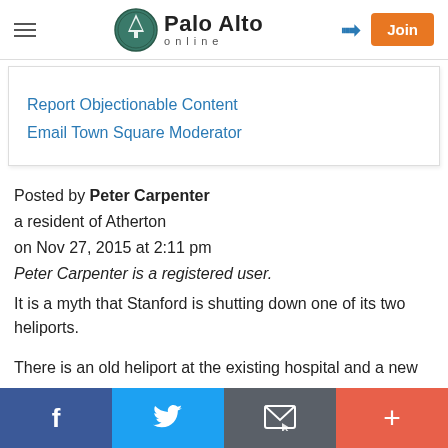Palo Alto online
Report Objectionable Content
Email Town Square Moderator
Posted by Peter Carpenter
a resident of Atherton
on Nov 27, 2015 at 2:11 pm
Peter Carpenter is a registered user.
It is a myth that Stanford is shutting down one of its two heliports.
There is an old heliport at the existing hospital and a new
f  Twitter  Email  +